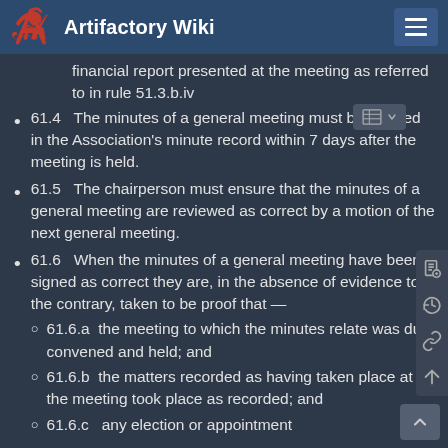Artifactory Wiki
financial report presented at the meeting as referred to in rule 51.3.b.iv
61.4   The minutes of a general meeting must be entered in the Association's minute record within 7 days after the meeting is held.
61.5   The chairperson must ensure that the minutes of a general meeting are reviewed as correct by a motion of the next general meeting.
61.6   When the minutes of a general meeting have been signed as correct they are, in the absence of evidence to the contrary, taken to be proof that —
61.6.a   the meeting to which the minutes relate was duly convened and held; and
61.6.b   the matters recorded as having taken place at the meeting took place as recorded; and
61.6.c   any election or appointment